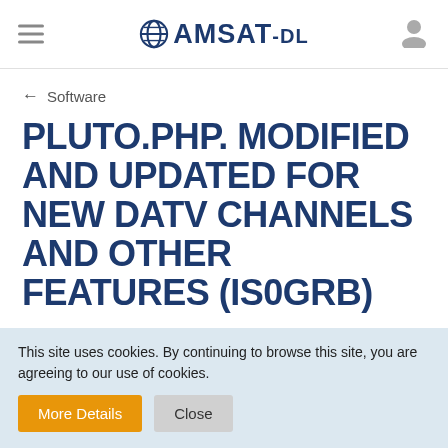AMSAT-DL
← Software
PLUTO.PHP. MODIFIED AND UPDATED FOR NEW DATV CHANNELS AND OTHER FEATURES (IS0GRB)
IS0GRB  Aug 10th 2020
This site uses cookies. By continuing to browse this site, you are agreeing to our use of cookies.